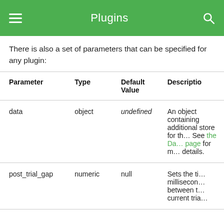Plugins
There is also a set of parameters that can be specified for any plugin:
| Parameter | Type | Default Value | Description |
| --- | --- | --- | --- |
| data | object | undefined | An object containing additional store for the… See the Da… page for m… details. |
| post_trial_gap | numeric | null | Sets the ti… millisecon… between t… current tria… |